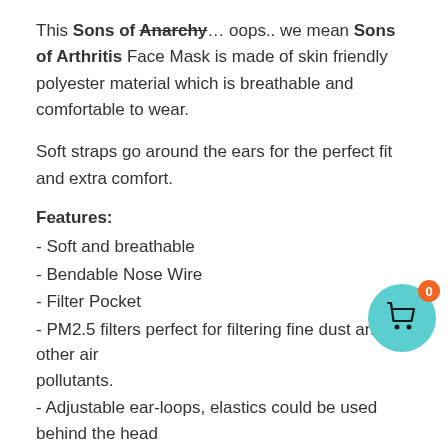This Sons of Anarchy… oops.. we mean Sons of Arthritis Face Mask is made of skin friendly polyester material which is breathable and comfortable to wear.
Soft straps go around the ears for the perfect fit and extra comfort.
Features:
- Soft and breathable
- Bendable Nose Wire
- Filter Pocket
- PM2.5 filters perfect for filtering fine dust and other air pollutants.
- Adjustable ear-loops, elastics could be used behind the head or on ears to find a best fit, does not hurt ears.
- Ideal for dust, allergies, smoke, pollution, ash, pollen, travel, chemicals, fluids, fog and haze weather, gray sky, snow weather.
[Figure (illustration): Shopping cart icon in a teal circle with an orange badge showing 0]